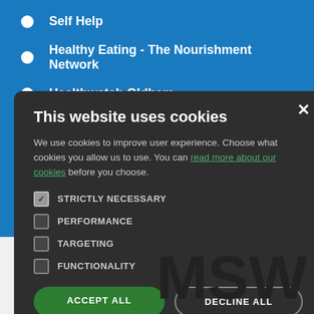Self Help
Healthy Eating - The Nourishment Network
Healthwatch Oldham
Oldham Cancer Aid Network
This website uses cookies
We use cookies to improve user experience. Choose what cookies you allow us to use. You can read more about our cookies before you choose.
STRICTLY NECESSARY
PERFORMANCE
TARGETING
FUNCTIONALITY
ACCEPT ALL
DECLINE ALL
MSW